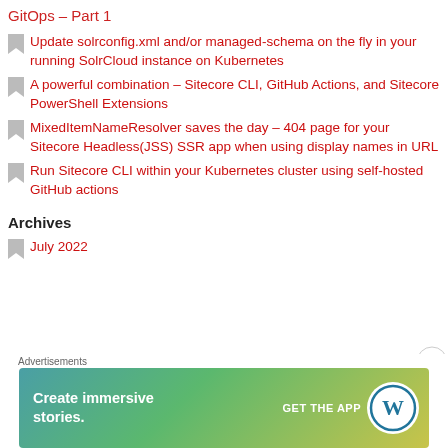GitOps – Part 1
Update solrconfig.xml and/or managed-schema on the fly in your running SolrCloud instance on Kubernetes
A powerful combination – Sitecore CLI, GitHub Actions, and Sitecore PowerShell Extensions
MixedItemNameResolver saves the day – 404 page for your Sitecore Headless(JSS) SSR app when using display names in URL
Run Sitecore CLI within your Kubernetes cluster using self-hosted GitHub actions
Archives
July 2022
[Figure (infographic): WordPress advertisement banner: 'Create immersive stories. GET THE APP' with WordPress logo, gradient background teal to yellow-green]